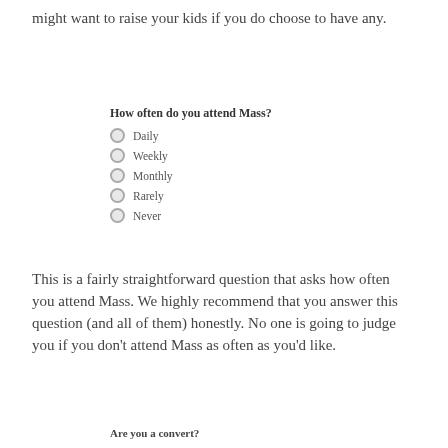might want to raise your kids if you do choose to have any.
How often do you attend Mass?
Daily
Weekly
Monthly
Rarely
Never
This is a fairly straightforward question that asks how often you attend Mass. We highly recommend that you answer this question (and all of them) honestly. No one is going to judge you if you don't attend Mass as often as you'd like.
Are you a convert?